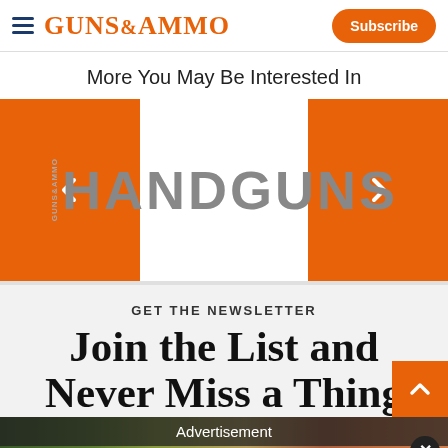GUNS&AMMO | Subscribe
More You May Be Interested In
[Figure (logo): HANDGUNS magazine logo with carousel arrows on left and right]
GET THE NEWSLETTER
Join the List and Never Miss a Thing
[Figure (photo): Advertisement banner overlay with outdoor/hunting scene and TIPTON branding, close button]
We use cookies to provide you with the best experience in Outdoors programming. Click accept to continue or read about our Privacy Policy.